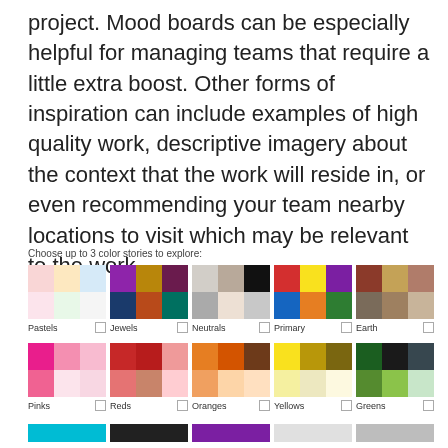project. Mood boards can be especially helpful for managing teams that require a little extra boost. Other forms of inspiration can include examples of high quality work, descriptive imagery about the context that the work will reside in, or even recommending your team nearby locations to visit which may be relevant to the work.
Choose up to 3 color stories to explore:
[Figure (illustration): Two rows of five color story swatches, each with a 3x2 grid of colored squares, a label (Pastels, Jewels, Neutrals, Primary, Earth / Pinks, Reds, Oranges, Yellows, Greens) and a checkbox. Row 3 partially visible at bottom.]